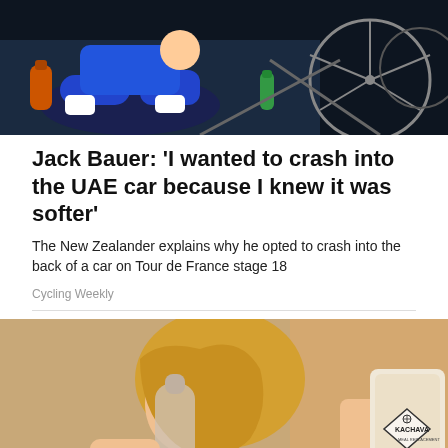[Figure (photo): Cyclist in blue kit sitting near bicycle after crash, Tour de France]
Jack Bauer: 'I wanted to crash into the UAE car because I knew it was softer'
The New Zealander explains why he opted to crash into the back of a car on Tour de France stage 18
Cycling Weekly
[Figure (photo): Woman with blonde hair drinking from a bottle while holding a Kachava bag]